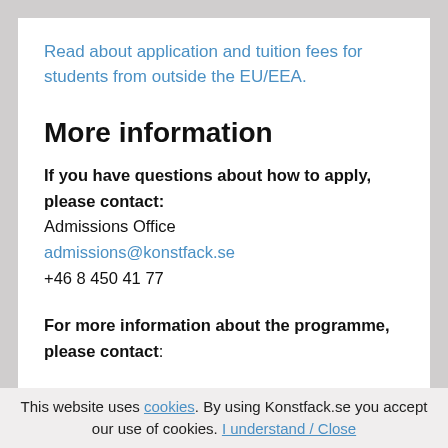Read about application and tuition fees for students from outside the EU/EEA.
More information
If you have questions about how to apply, please contact:
Admissions Office
admissions@konstfack.se
+46 8 450 41 77
For more information about the programme, please contact:
This website uses cookies. By using Konstfack.se you accept our use of cookies. I understand / Close